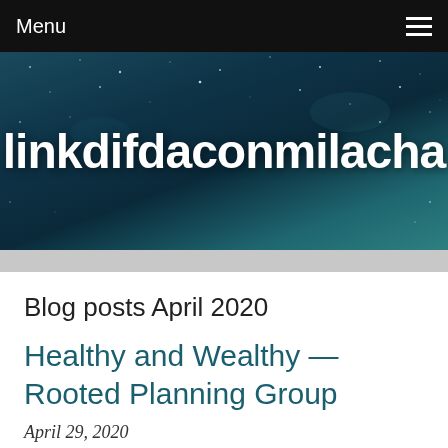Menu
[Figure (logo): Blog site banner with starry night sky background and cursive white text reading 'linkdifdaconmilacha']
Blog posts April 2020
Healthy and Wealthy — Rooted Planning Group
April 29, 2020